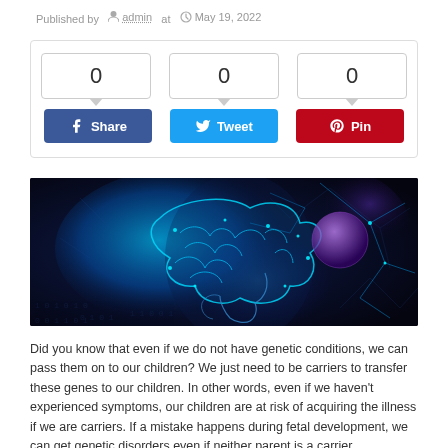Published by admin at May 19, 2022
[Figure (infographic): Social share widget with three counter boxes showing 0 each, and Share (Facebook), Tweet (Twitter), and Pin (Pinterest) buttons]
[Figure (photo): Digital illustration of a human brain and neural connections in blue tones against a dark background, side profile view of a human head]
Did you know that even if we do not have genetic conditions, we can pass them on to our children? We just need to be carriers to transfer these genes to our children. In other words, even if we haven't experienced symptoms, our children are at risk of acquiring the illness if we are carriers. If a mistake happens during fetal development, we can get genetic disorders even if neither parent is a carrier.